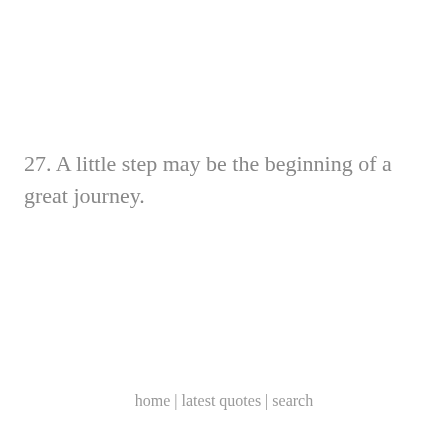27. A little step may be the beginning of a great journey.
home | latest quotes | search